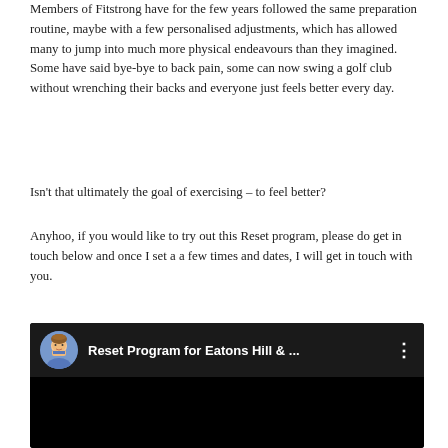Members of Fitstrong have for the few years followed the same preparation routine, maybe with a few personalised adjustments, which has allowed many to jump into much more physical endeavours than they imagined. Some have said bye-bye to back pain, some can now swing a golf club without wrenching their backs and everyone just feels better every day.
Isn't that ultimately the goal of exercising – to feel better?
Anyhoo, if you would like to try out this Reset program, please do get in touch below and once I set a a few times and dates, I will get in touch with you.
[Figure (screenshot): YouTube-style video embed with black background, circular avatar of a cartoon man, title 'Reset Program for Eatons Hill & ...' and three-dot menu icon]